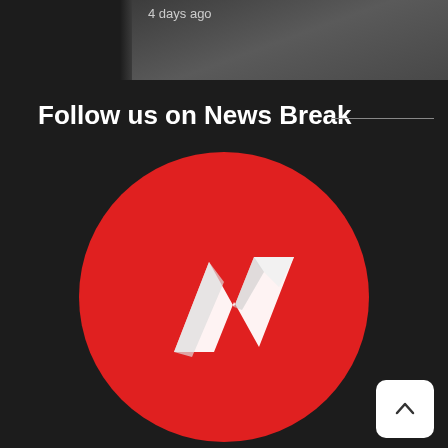[Figure (screenshot): Dark background top area with a blurred photo thumbnail on the right side showing '4 days ago' timestamp text]
4 days ago
Follow us on News Break
[Figure (logo): News Break app logo — white stylized N lightning bolt on a red circle background]
[Figure (other): White rounded square button with an upward chevron arrow for scrolling to top]